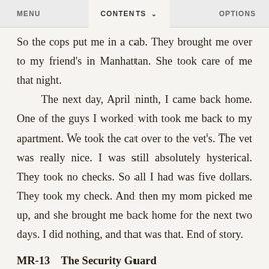MENU   CONTENTS ∨   OPTIONS
So the cops put me in a cab. They brought me over to my friend's in Manhattan. She took care of me that night.
The next day, April ninth, I came back home. One of the guys I worked with took me back to my apartment. We took the cat over to the vet's. The vet was really nice. I was still absolutely hysterical. They took no checks. So all I had was five dollars. They took my check. And then my mom picked me up, and she brought me back home for the next two days. I did nothing, and that was that. End of story.
MR-13   The Security Guard
Ruth Melberg, June 13, 1977